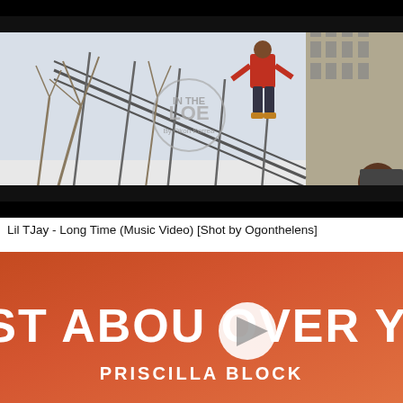[Figure (screenshot): Music video thumbnail for Lil TJay - Long Time. Shows a person in red jacket standing on metal stairs/fence against a backdrop of bare winter trees and buildings. A circular logo/watermark is visible in the center. Another person is partially visible in the lower right. Black bars at top and bottom.]
Lil TJay - Long Time (Music Video) [Shot by Ogonthelens]
[Figure (screenshot): Music video thumbnail showing orange-red gradient background with large white bold text reading 'JUST ABOUT OVER YOU' and below it 'PRISCILLA BLOCK'. A circular play button icon is overlaid in the center of the text.]